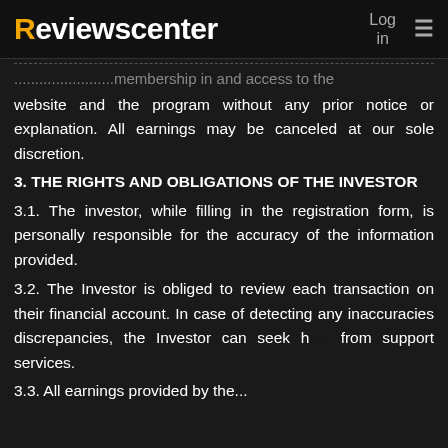Reviewscenter  Log in  ≡
...member's membership in and access to the website and the program without any prior notice or explanation. All earnings may be canceled at our sole discretion.
3. THE RIGHTS AND OBLIGATIONS OF THE INVESTOR
3.1. The investor, while filling in the registration form, is personally responsible for the accuracy of the information provided.
3.2. The Investor is obliged to review each transaction on their financial account. In case of detecting any inaccuracies discrepancies, the Investor can seek help from support services.
3.3. All earnings provided by the...